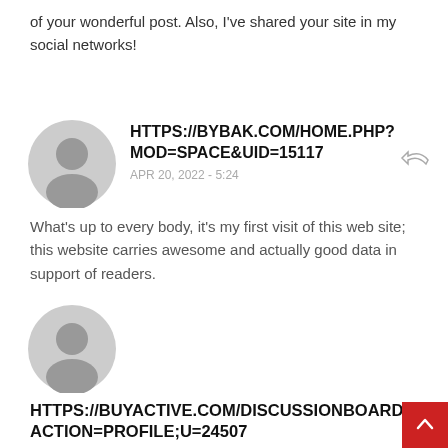of your wonderful post. Also, I've shared your site in my social networks!
HTTPS://BYBAK.COM/HOME.PHP?MOD=SPACE&UID=15117
APR 20, 2022 - 5:24
What's up to every body, it's my first visit of this web site; this website carries awesome and actually good data in support of readers.
HTTPS://BUYACTIVE.COM/DISCUSSIONBOARD/INDEX.PHP?ACTION=PROFILE;U=24507
APR 20, 2022 - 5:34